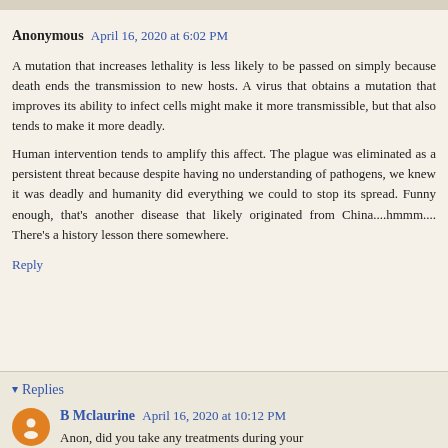Anonymous April 16, 2020 at 6:02 PM
A mutation that increases lethality is less likely to be passed on simply because death ends the transmission to new hosts. A virus that obtains a mutation that improves its ability to infect cells might make it more transmissible, but that also tends to make it more deadly.
Human intervention tends to amplify this affect. The plague was eliminated as a persistent threat because despite having no understanding of pathogens, we knew it was deadly and humanity did everything we could to stop its spread. Funny enough, that's another disease that likely originated from China....hmmm.... There's a history lesson there somewhere.
Reply
Replies
B Mclaurine April 16, 2020 at 10:12 PM
Anon, did you take any treatments during your